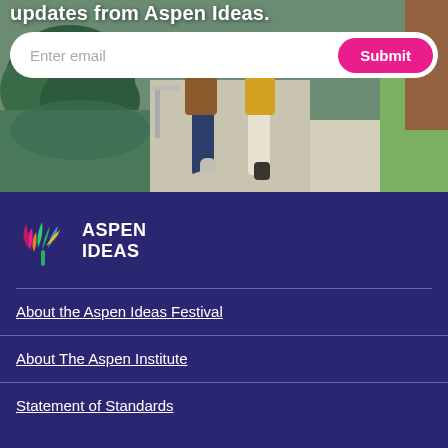[Figure (photo): People walking on a pathway outdoors with trees and water visible, with a partial title text 'updates from Aspen Ideas.' overlaid at top, and an email sign-up bar with 'Enter email' input and 'Submit' button]
[Figure (logo): Aspen Ideas logo: colorful leaf/plant icon on left, 'ASPEN IDEAS' in bold white text on right, on dark purple background]
About the Aspen Ideas Festival
About The Aspen Institute
Statement of Standards